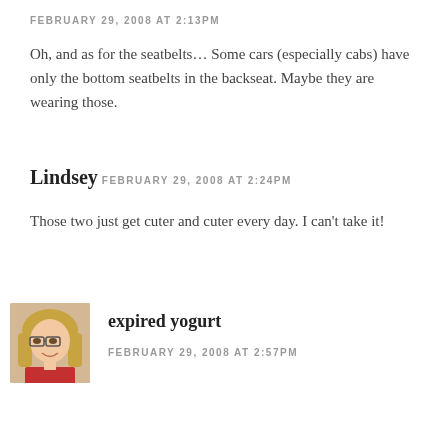FEBRUARY 29, 2008 AT 2:13PM
Oh, and as for the seatbelts… Some cars (especially cabs) have only the bottom seatbelts in the backseat. Maybe they are wearing those.
Lindsey
FEBRUARY 29, 2008 AT 2:24PM
Those two just get cuter and cuter every day. I can't take it!
[Figure (photo): Profile photo of a blonde woman with glasses, smiling]
expired yogurt
FEBRUARY 29, 2008 AT 2:57PM